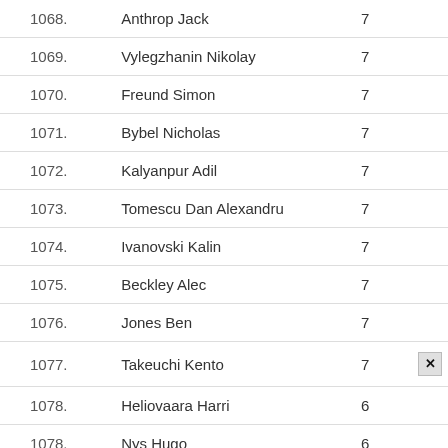| # | Name | Score |  |
| --- | --- | --- | --- |
| 1068. | Anthrop Jack | 7 |  |
| 1069. | Vylegzhanin Nikolay | 7 |  |
| 1070. | Freund Simon | 7 |  |
| 1071. | Bybel Nicholas | 7 |  |
| 1072. | Kalyanpur Adil | 7 |  |
| 1073. | Tomescu Dan Alexandru | 7 |  |
| 1074. | Ivanovski Kalin | 7 |  |
| 1075. | Beckley Alec | 7 |  |
| 1076. | Jones Ben | 7 |  |
| 1077. | Takeuchi Kento | 7 | ✕ |
| 1078. | Heliovaara Harri | 6 |  |
| 1078. | Nys Hugo | 6 |  |